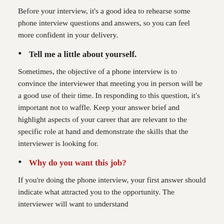Before your interview, it's a good idea to rehearse some phone interview questions and answers, so you can feel more confident in your delivery.
Tell me a little about yourself.
Sometimes, the objective of a phone interview is to convince the interviewer that meeting you in person will be a good use of their time. In responding to this question, it's important not to waffle. Keep your answer brief and highlight aspects of your career that are relevant to the specific role at hand and demonstrate the skills that the interviewer is looking for.
Why do you want this job?
If you're doing the phone interview, your first answer should indicate what attracted you to the opportunity. The interviewer will want to understand